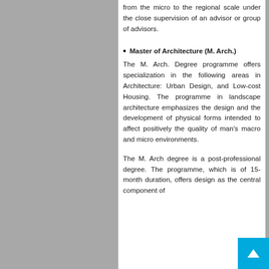from the micro to the regional scale under the close supervision of an advisor or group of advisors.
Master of Architecture (M. Arch.)
The M. Arch. Degree programme offers specialization in the following areas in Architecture: Urban Design, and Low-cost Housing. The programme in landscape architecture emphasizes the design and the development of physical forms intended to affect positively the quality of man’s macro and micro environments.
The M. Arch degree is a post-professional degree. The programme, which is of 15-month duration, offers design as the central component of